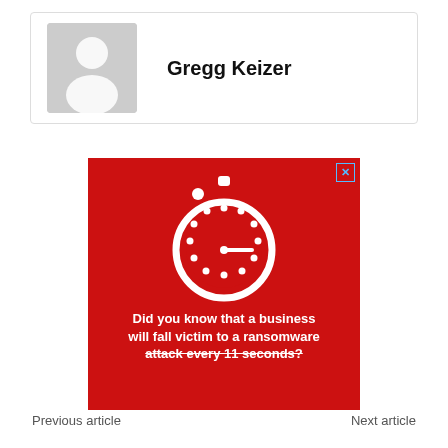[Figure (photo): Author profile card with placeholder avatar (grey silhouette) and name 'Gregg Keizer']
[Figure (infographic): Red advertisement banner with white stopwatch icon and text: 'Did you know that a business will fall victim to a ransomware attack every 11 seconds?' with strikethrough on last line]
Previous article    Next article